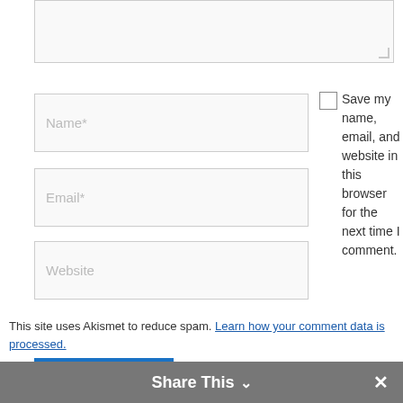[Figure (screenshot): Textarea input box (comment field) with resize handle at bottom right]
[Figure (screenshot): Name* text input field (placeholder text 'Name*')]
Save my name, email, and website in this browser for the next time I comment.
[Figure (screenshot): Email* text input field (placeholder text 'Email*')]
[Figure (screenshot): Website text input field (placeholder text 'Website')]
[Figure (screenshot): Blue 'Post Comment »' button]
This site uses Akismet to reduce spam. Learn how your comment data is processed.
Share This ∨ ✕